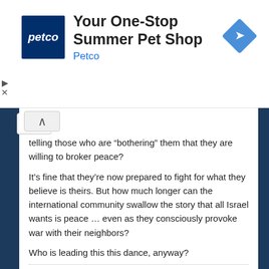[Figure (other): Petco advertisement banner: logo on left (dark blue square with 'petco' text), headline 'Your One-Stop Summer Pet Shop', subtext 'Petco', blue diamond navigation icon on right]
telling those who are “bothering” them that they are willing to broker peace?
It’s fine that they’re now prepared to fight for what they believe is theirs. But how much longer can the international community swallow the story that all Israel wants is peace … even as they consciously provoke war with their neighbors?
Who is leading this this dance, anyway?
Adam - November 4, 2013 At 2:41 Am Reply
I feel that because it was once someones land, should not be a reason to try to reclaim it a